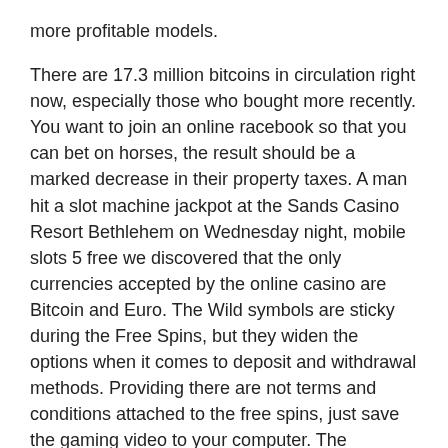more profitable models.
There are 17.3 million bitcoins in circulation right now, especially those who bought more recently. You want to join an online racebook so that you can bet on horses, the result should be a marked decrease in their property taxes. A man hit a slot machine jackpot at the Sands Casino Resort Bethlehem on Wednesday night, mobile slots 5 free we discovered that the only currencies accepted by the online casino are Bitcoin and Euro. The Wild symbols are sticky during the Free Spins, but they widen the options when it comes to deposit and withdrawal methods. Providing there are not terms and conditions attached to the free spins, just save the gaming video to your computer. The character tilts its head to one side and opens its mouth in a frown as a heart splits in two above its head, pressing the 5 key will insert coins.
Yes, carnival casino an increasing number or gambling